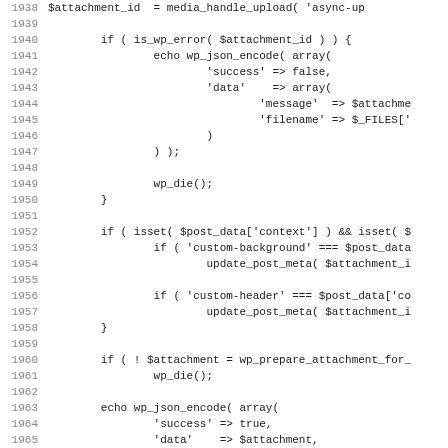[Figure (screenshot): Source code listing showing PHP WordPress code, line numbers 1938-1970, displaying functions for handling attachment uploads including is_wp_error checks, echo wp_json_encode calls, wp_die, isset checks for post_data context, update_post_meta calls, wp_prepare_attachment_for_js, and a closing brace.]